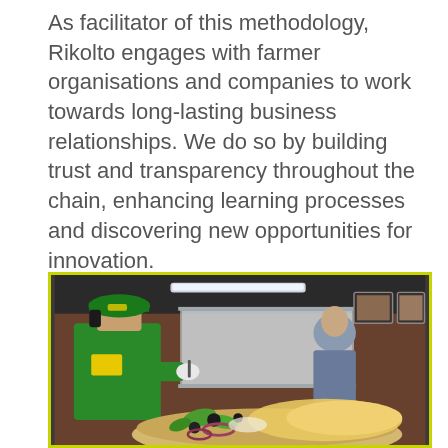As facilitator of this methodology, Rikolto engages with farmer organisations and companies to work towards long-lasting business relationships. We do so by building trust and transparency throughout the chain, enhancing learning processes and discovering new opportunities for innovation.
[Figure (photo): A woman in a green shirt and green cap with yellow logo, wearing white gloves, preparing food at a counter. In the background, a man in a blue shirt stands near stainless steel equipment. There are framed pictures on a wooden wall. In the foreground, a sandwich/flatbread with toppings including green peppers, olives, onions, and cheese.]